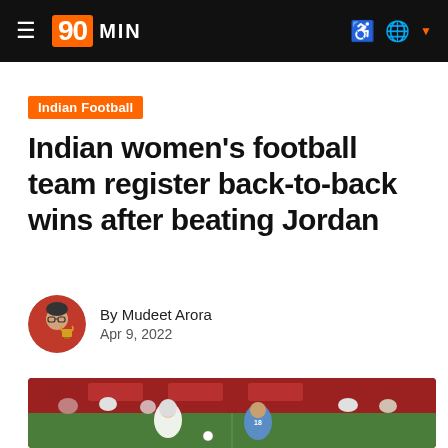90MIN
Indian Football
Indian women's football team register back-to-back wins after beating Jordan
By Mudeet Arora
Apr 9, 2022
[Figure (photo): Football match scene showing players from two teams competing on a grass pitch, with spectators in the background and match branding visible.]